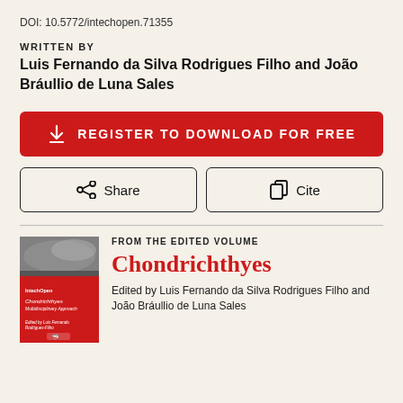DOI: 10.5772/intechopen.71355
WRITTEN BY
Luis Fernando da Silva Rodrigues Filho and João Bráullio de Luna Sales
[Figure (other): Red button: REGISTER TO DOWNLOAD FOR FREE with download arrow icon]
[Figure (other): Two outline buttons: Share (with share icon) and Cite (with copy icon)]
[Figure (other): Book cover thumbnail for Chondrichthyes: Multidisciplinary Approach, red cover with white text and logo]
FROM THE EDITED VOLUME
Chondrichthyes
Edited by Luis Fernando da Silva Rodrigues Filho and João Bráullio de Luna Sales